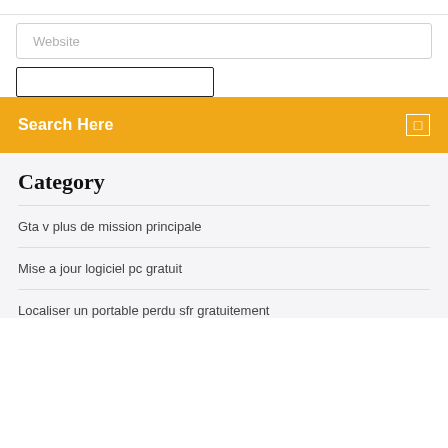Website
Search Here
Category
Gta v plus de mission principale
Mise a jour logiciel pc gratuit
Localiser un portable perdu sfr gratuitement